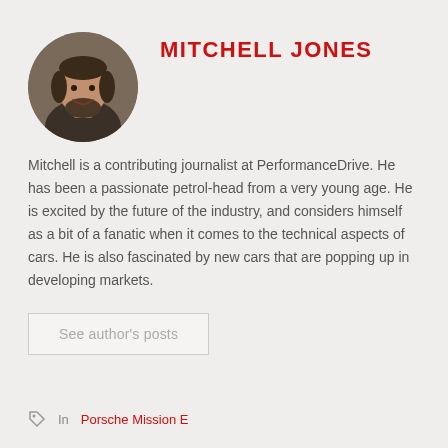[Figure (photo): Circular profile photo of Mitchell Jones, a man with a beard, smiling]
MITCHELL JONES
Mitchell is a contributing journalist at PerformanceDrive. He has been a passionate petrol-head from a very young age. He is excited by the future of the industry, and considers himself as a bit of a fanatic when it comes to the technical aspects of cars. He is also fascinated by new cars that are popping up in developing markets.
See author's posts
In Porsche Mission E